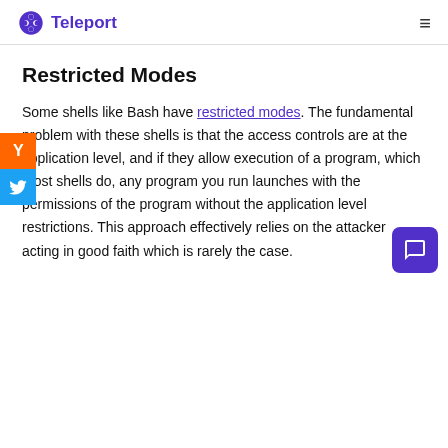Teleport
Restricted Modes
Some shells like Bash have restricted modes. The fundamental problem with these shells is that the access controls are at the application level, and if they allow execution of a program, which most shells do, any program you run launches with the permissions of the program without the application level restrictions. This approach effectively relies on the attacker acting in good faith which is rarely the case.